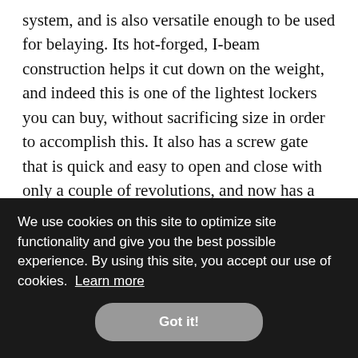system, and is also versatile enough to be used for belaying. Its hot-forged, I-beam construction helps it cut down on the weight, and indeed this is one of the lightest lockers you can buy, without sacrificing size in order to accomplish this. It also has a screw gate that is quick and easy to open and close with only a couple of revolutions, and now has a visual indicator icon printed on the gate bar so you can more easily see whether the gate is fully closed or not.
[partially obscured] …but …ply not …ker. It … …o it into …ing …his is more of an annoyance than a safety or quality concern.
[Figure (screenshot): Cookie consent overlay banner with black background. Text reads: 'We use cookies on this site to optimize site functionality and give you the best possible experience. By using this site, you accept our use of cookies. Learn more'. Contains a 'Got it!' button.]